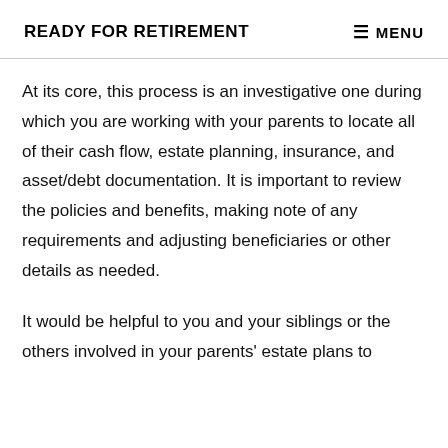READY FOR RETIREMENT    ≡ MENU
At its core, this process is an investigative one during which you are working with your parents to locate all of their cash flow, estate planning, insurance, and asset/debt documentation. It is important to review the policies and benefits, making note of any requirements and adjusting beneficiaries or other details as needed.
It would be helpful to you and your siblings or the others involved in your parents' estate plans to have access to the most vital information from